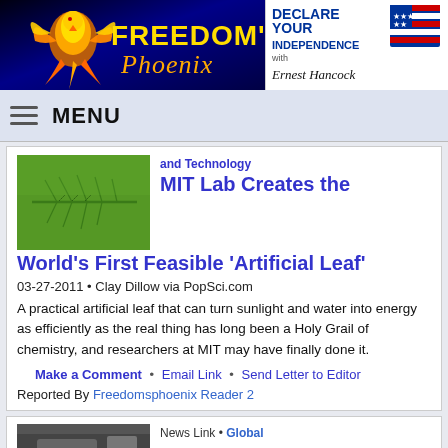[Figure (logo): Freedom's Phoenix logo with phoenix bird on blue/dark background]
[Figure (logo): Declare Your Independence with Ernest Hancock advertisement]
MENU
[Figure (photo): Close-up photo of a green leaf]
and Technology
MIT Lab Creates the World's First Feasible 'Artificial Leaf'
03-27-2011 • Clay Dillow via PopSci.com
A practical artificial leaf that can turn sunlight and water into energy as efficiently as the real thing has long been a Holy Grail of chemistry, and researchers at MIT may have finally done it.
Make a Comment • Email Link • Send Letter to Editor
Reported By Freedomsphoenix Reader 2
News Link • Global